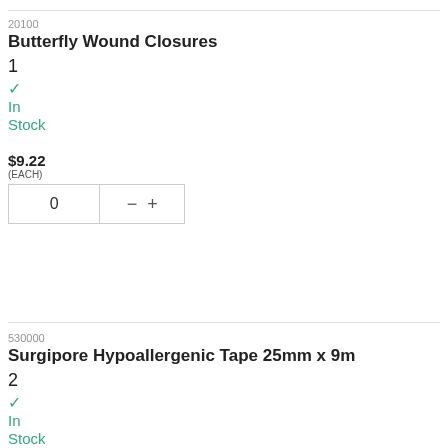20100
Butterfly Wound Closures
1
✓ In Stock
$9.22
(EACH)
0 − +
530000
Surgipore Hypoallergenic Tape 25mm x 9m
2
✓ In Stock